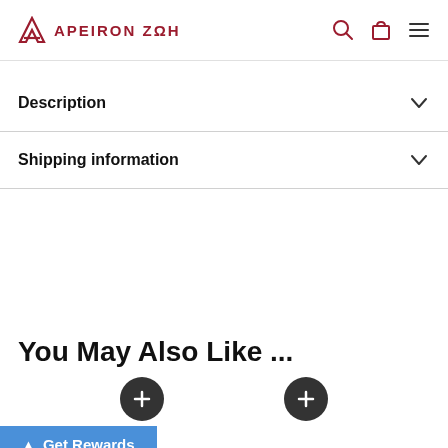APEIRON ΖΩΗ
Description
Shipping information
You May Also Like ...
Get Rewards